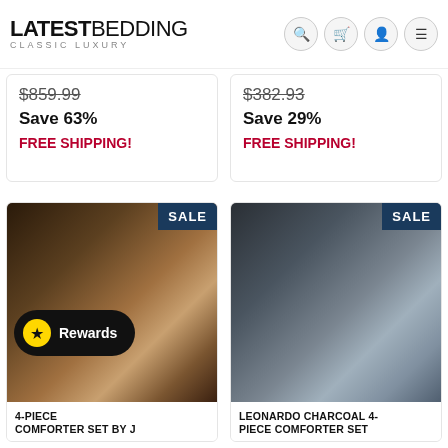LATESTBEDDING CLASSIC LUXURY
$859.99
Save 63%
FREE SHIPPING!
$382.93
Save 29%
FREE SHIPPING!
[Figure (photo): Bedroom with dark gold/brown luxury comforter set with ornate patterns, SALE badge in corner]
[Figure (photo): Bedroom with charcoal/grey luxury comforter set, SALE badge in corner]
4-PIECE COMFORTER SET BY J
LEONARDO CHARCOAL 4-PIECE COMFORTER SET